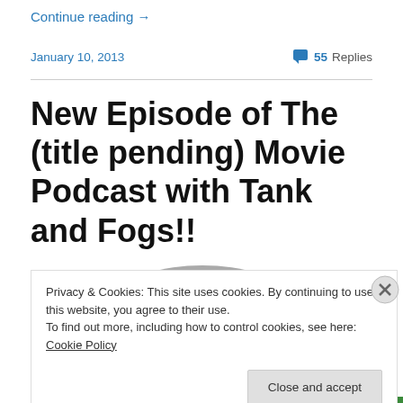Continue reading →
January 10, 2013   55 Replies
New Episode of The (title pending) Movie Podcast with Tank and Fogs!!
Privacy & Cookies: This site uses cookies. By continuing to use this website, you agree to their use.
To find out more, including how to control cookies, see here: Cookie Policy
Close and accept